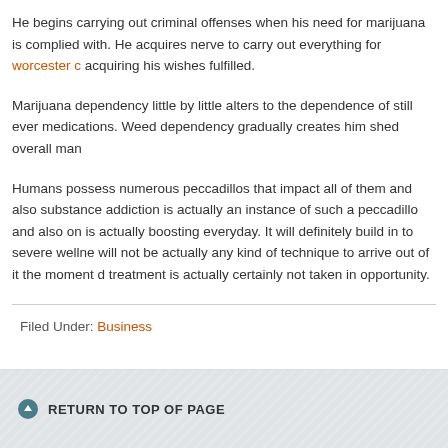He begins carrying out criminal offenses when his need for marijuana is complied with. He acquires nerve to carry out everything for worcester c acquiring his wishes fulfilled.
Marijuana dependency little by little alters to the dependence of still ever medications. Weed dependency gradually creates him shed overall man
Humans possess numerous peccadillos that impact all of them and also substance addiction is actually an instance of such a peccadillo and also on is actually boosting everyday. It will definitely build in to severe wellne will not be actually any kind of technique to arrive out of it the moment d treatment is actually certainly not taken in opportunity.
Filed Under: Business
RETURN TO TOP OF PAGE